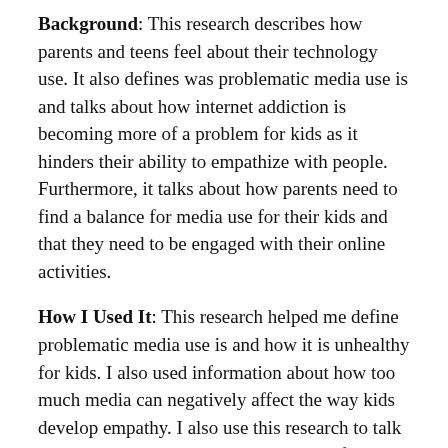Background: This research describes how parents and teens feel about their technology use. It also defines was problematic media use is and talks about how internet addiction is becoming more of a problem for kids as it hinders their ability to empathize with people. Furthermore, it talks about how parents need to find a balance for media use for their kids and that they need to be engaged with their online activities.
How I Used It: This research helped me define problematic media use is and how it is unhealthy for kids. I also used information about how too much media can negatively affect the way kids develop empathy. I also use this research to talk about how social media is a good thing for kids as they can meet new friends who share the same interests, as long as they use it appropriately.